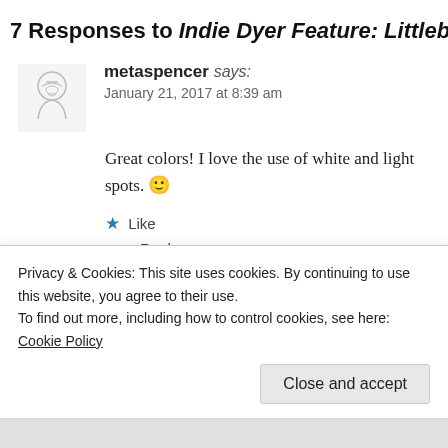7 Responses to Indie Dyer Feature: Littlebe
metaspencer says:
January 21, 2017 at 8:39 am
Great colors! I love the use of white and light spots. 🙂
★ Like
Reply
knittingthestash says:
January 21, 2017 at 1:36 pm
Privacy & Cookies: This site uses cookies. By continuing to use this website, you agree to their use.
To find out more, including how to control cookies, see here: Cookie Policy
Close and accept